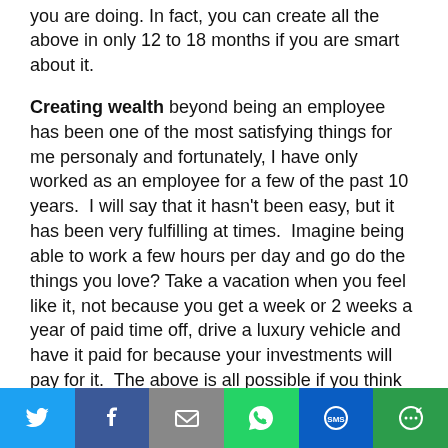you are doing. In fact, you can create all the above in only 12 to 18 months if you are smart about it.
Creating wealth beyond being an employee has been one of the most satisfying things for me personaly and fortunately, I have only worked as an employee for a few of the past 10 years. I will say that it hasn't been easy, but it has been very fulfilling at times. Imagine being able to work a few hours per day and go do the things you love? Take a vacation when you feel like it, not because you get a week or 2 weeks a year of paid time off, drive a luxury vehicle and have it paid for because your investments will pay for it. The above is all possible if you think you can, are resourceful, and have a mentor to show you the way. And the best part is, you become your own boss and create a lifestyle that most only dream about in a very short period of time. It doesn't mean you don't work, but trust me it's
[Figure (other): Social sharing bar with Twitter, Facebook, Email, WhatsApp, SMS, and More buttons]